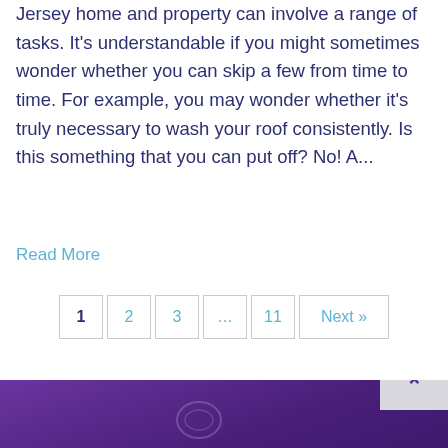Jersey home and property can involve a range of tasks. It's understandable if you might sometimes wonder whether you can skip a few from time to time. For example, you may wonder whether it's truly necessary to wash your roof consistently. Is this something that you can put off? No! A...
Read More
1  2  3  ...  11  Next »